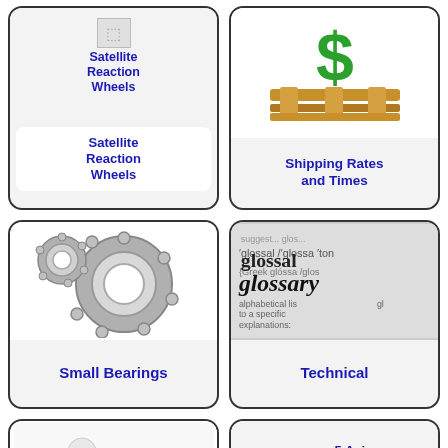[Figure (illustration): Satellite Reaction Wheels product card with broken image icon at top and white label box below]
[Figure (illustration): Shipping Rates and Times card with green dollar sign on wooden pallet image]
[Figure (illustration): Small Bearings card with photo of ball bearings]
[Figure (illustration): Technical glossary card with dictionary definition image]
[Figure (illustration): Terms and Conditions card with figure unrolling red carpet]
[Figure (illustration): 5 Axis Machine Tool Bearings card with broken image icon and partial label]